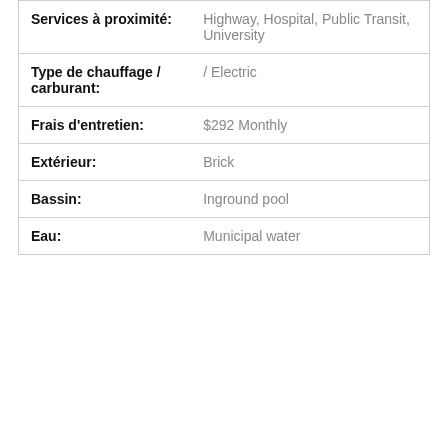| Property attribute | Value |
| --- | --- |
| Services à proximité: | Highway, Hospital, Public Transit, University |
| Type de chauffage / carburant: | / Electric |
| Frais d'entretien: | $292 Monthly |
| Extérieur: | Brick |
| Bassin: | Inground pool |
| Eau: | Municipal water |